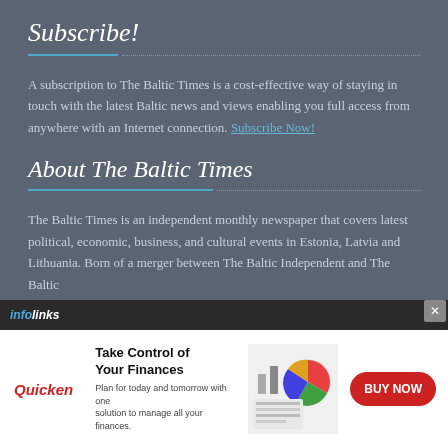Subscribe!
A subscription to The Baltic Times is a cost-effective way of staying in touch with the latest Baltic news and views enabling you full access from anywhere with an Internet connection. Subscribe Now!
About The Baltic Times
The Baltic Times is an independent monthly newspaper that covers latest political, economic, business, and cultural events in Estonia, Latvia and Lithuania. Born of a merger between The Baltic Independent and The Baltic
[Figure (infographic): Infolinks banner ad with Quicken advertisement: Take Control of Your Finances - BUY NOW button, woman with laptop and financial pie chart graphic]